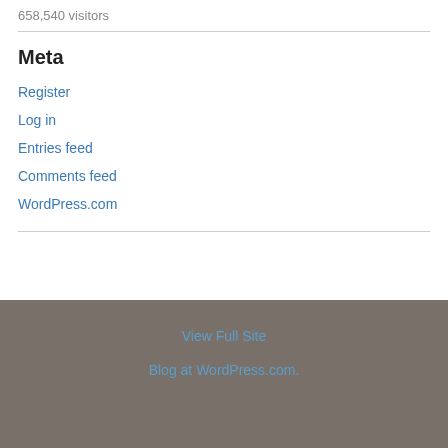658,540 visitors
Meta
Register
Log in
Entries feed
Comments feed
WordPress.com
View Full Site
Blog at WordPress.com.